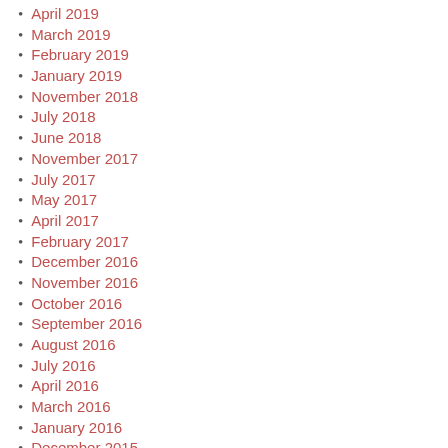April 2019
March 2019
February 2019
January 2019
November 2018
July 2018
June 2018
November 2017
July 2017
May 2017
April 2017
February 2017
December 2016
November 2016
October 2016
September 2016
August 2016
July 2016
April 2016
March 2016
January 2016
December 2015
October 2015
September 2015